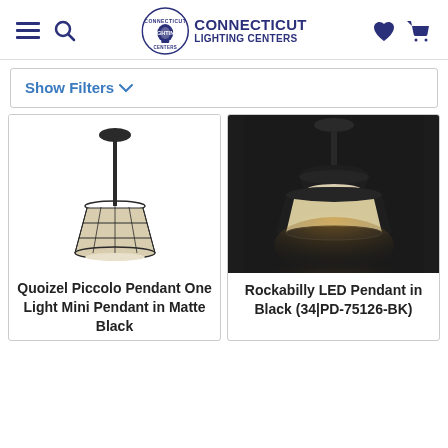Connecticut Lighting Centers
Show Filters
[Figure (photo): Quoizel Piccolo pendant light with black wire frame and beige fabric shade, hanging on a rod with a black canopy, white background]
Quoizel Piccolo Pendant One Light Mini Pendant in Matte Black
[Figure (photo): Rockabilly LED Pendant light in black, dark background with warm glow from shade]
Rockabilly LED Pendant in Black (34|PD-75126-BK)